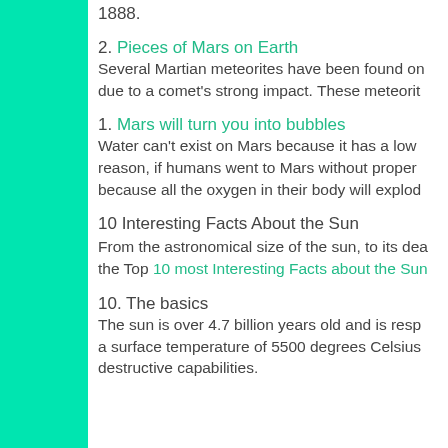1888.
2. Pieces of Mars on Earth
Several Martian meteorites have been found on due to a comet's strong impact. These meteorite
1. Mars will turn you into bubbles
Water can't exist on Mars because it has a low reason, if humans went to Mars without proper because all the oxygen in their body will explod
10 Interesting Facts About the Sun
From the astronomical size of the sun, to its dea the Top 10 most Interesting Facts about the Sun
10. The basics
The sun is over 4.7 billion years old and is resp a surface temperature of 5500 degrees Celsius destructive capabilities.